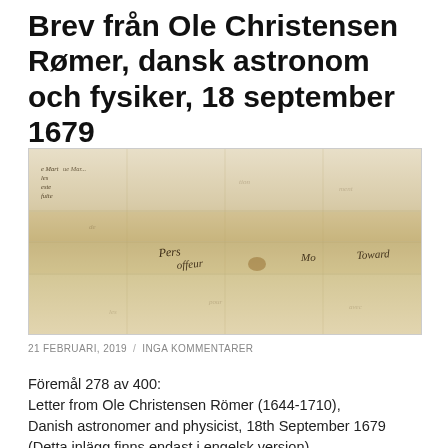Brev från Ole Christensen Rømer, dansk astronom och fysiker, 18 september 1679
[Figure (photo): A photograph of a historical handwritten letter from Ole Christensen Rømer dated 18th September 1679. The aged, folded paper shows cursive handwriting in ink including partial words visible such as 'Pers', 'offeur', 'Mo', and 'Toward'.]
21 FEBRUARI, 2019 / INGA KOMMENTARER
Föremål 278 av 400:
Letter from Ole Christensen Römer (1644-1710),
Danish astronomer and physicist, 18th September 1679
(Detta inlägg finns endast i engelsk version)